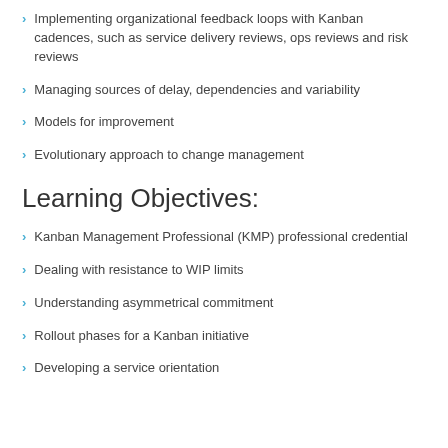Implementing organizational feedback loops with Kanban cadences, such as service delivery reviews, ops reviews and risk reviews
Managing sources of delay, dependencies and variability
Models for improvement
Evolutionary approach to change management
Learning Objectives:
Kanban Management Professional (KMP) professional credential
Dealing with resistance to WIP limits
Understanding asymmetrical commitment
Rollout phases for a Kanban initiative
Developing a service orientation